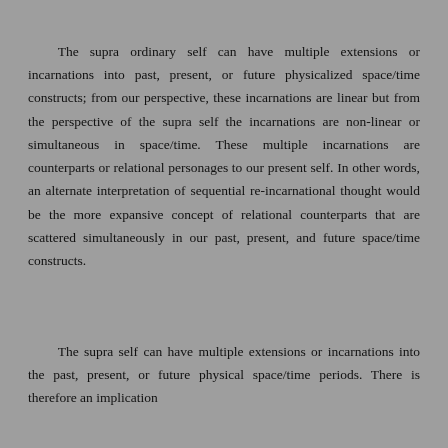The supra ordinary self can have multiple extensions or incarnations into past, present, or future physicalized space/time constructs; from our perspective, these incarnations are linear but from the perspective of the supra self the incarnations are non-linear or simultaneous in space/time. These multiple incarnations are counterparts or relational personages to our present self. In other words, an alternate interpretation of sequential re-incarnational thought would be the more expansive concept of relational counterparts that are scattered simultaneously in our past, present, and future space/time constructs.
The supra self can have multiple extensions or incarnations into the past, present, or future physical space/time periods. There is therefore an implication